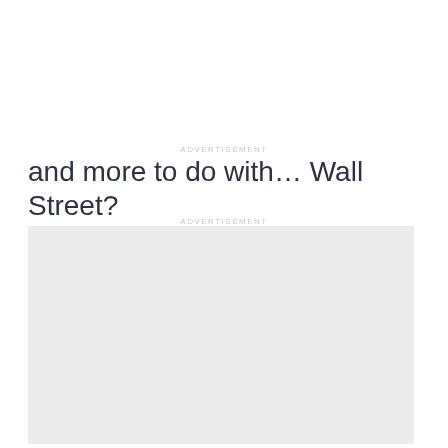ADVERTISEMENT
and more to do with… Wall Street?
ADVERTISEMENT
[Figure (other): Advertisement placeholder box with light gray background]